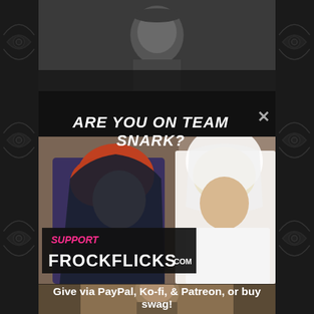[Figure (photo): Black and white photo of two people in the top strip, partially visible against dark decorative side panels with scroll/flourish patterns]
ARE YOU ON TEAM SNARK?
[Figure (photo): Color film still showing two women - one with red hair wearing a dark hood/cape, one blonde wearing a white veil/headpiece - with overlay text 'SUPPORT FROCKFLICKS.COM' in pink and white on black banner]
Give via PayPal, Ko-fi, & Patreon, or buy swag!
[Figure (photo): Sepia/vintage photo of a person partially visible at the bottom of the page]